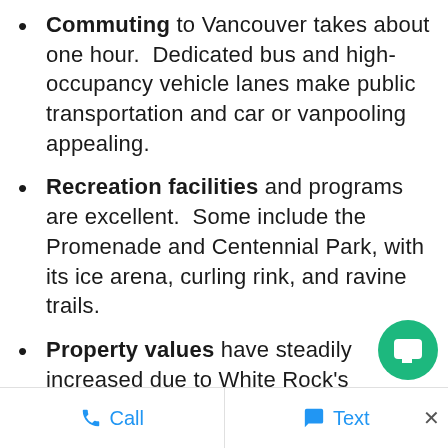Commuting to Vancouver takes about one hour. Dedicated bus and high-occupancy vehicle lanes make public transportation and car or vanpooling appealing.
Recreation facilities and programs are excellent. Some include the Promenade and Centennial Park, with its ice arena, curling rink, and ravine trails.
Property values have steadily increased due to White Rock’s attractive setting and amenities.
Call   Text